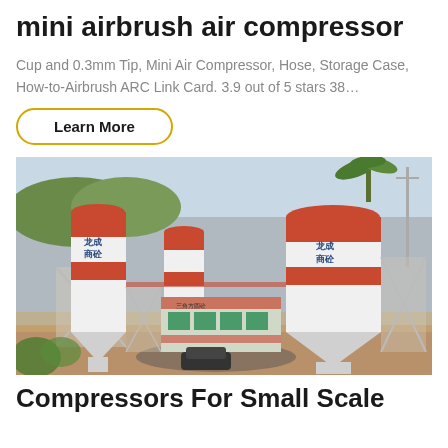mini airbrush air compressor
Cup and 0.3mm Tip, Mini Air Compressor, Hose, Storage Case, How-to-Airbrush ARC Link Card. 3.9 out of 5 stars 38…
Learn More
[Figure (photo): Industrial concrete mixing plant with large red and white silos bearing Chinese characters, scaffolding, green control building, trees in background, and reddish-brown earthen ground]
Compressors For Small Scale